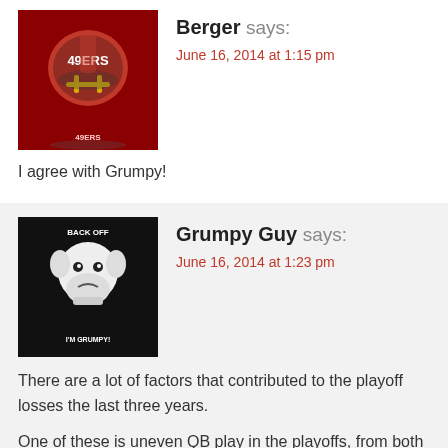[Figure (photo): Avatar image of a San Francisco 49ers helmet logo]
Berger says:
June 16, 2014 at 1:15 pm
I agree with Grumpy!
[Figure (photo): Avatar image with 'Back Off I'm Grumpy' cartoon bulldog logo]
Grumpy Guy says:
June 16, 2014 at 1:23 pm
There are a lot of factors that contributed to the playoff losses the last three years.
One of these is uneven QB play in the playoffs, from both Alex and Colin. Both have played very well (Alex vs. the Saints, Colin in the comeback wins in 2012 in particular) and both played poorly (Alex vs. the Giants, Colin in the first half of the SB and at Seattle).
One of these is coaching versus John Harbaugh and Pete the Cheat. I felt like our guy and our staff got outcoached both times. I have been particularly unhappy with the way we have come out flat and